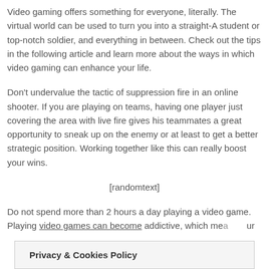Video gaming offers something for everyone, literally. The virtual world can be used to turn you into a straight-A student or top-notch soldier, and everything in between. Check out the tips in the following article and learn more about the ways in which video gaming can enhance your life.
Don't undervalue the tactic of suppression fire in an online shooter. If you are playing on teams, having one player just covering the area with live fire gives his teammates a great opportunity to sneak up on the enemy or at least to get a better strategic position. Working together like this can really boost your wins.
[randomtext]
Do not spend more than 2 hours a day playing a video game. Playing video games can become addictive, which me... ur
Privacy & Cookies Policy